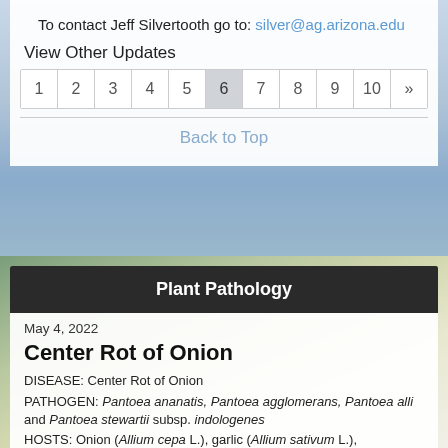To contact Jeff Silvertooth go to: silver@ag.arizona.edu
View Other Updates
1 2 3 4 5 6 7 8 9 10 »
Back to Top
Plant Pathology
May 4, 2022
Center Rot of Onion
DISEASE: Center Rot of Onion
PATHOGEN: Pantoea ananatis, Pantoea agglomerans, Pantoea alli and Pantoea stewartii subsp. indologenes
HOSTS: Onion (Allium cepa L.), garlic (Allium sativum L.),